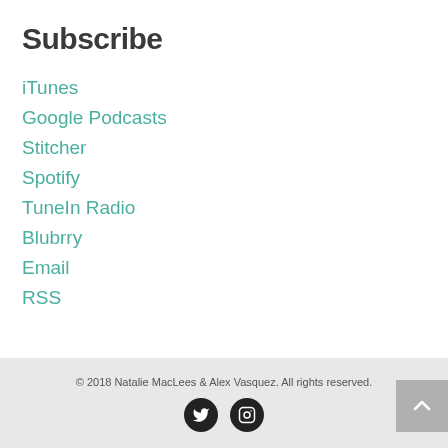Subscribe
iTunes
Google Podcasts
Stitcher
Spotify
TuneIn Radio
Blubrry
Email
RSS
© 2018 Natalie MacLees & Alex Vasquez. All rights reserved.